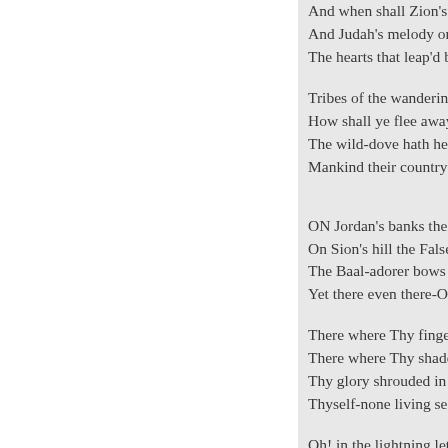And when shall Zion's song
And Judah's melody once m
The hearts that leap'd befor

Tribes of the wandering foo
How shall ye flee away and
The wild-dove hath her nest
Mankind their country-Israe

ON Jordan's banks the Arab
On Sion's hill the False One
The Baal-adorer bows on Si
Yet there even there-O God

There where Thy finger sco
There where Thy shadow to
Thy glory shrouded in its ga
Thyself-none living see and

Oh! in the lightning let Thy
Sweep from his shiver'd har
How long by tyrants shall th